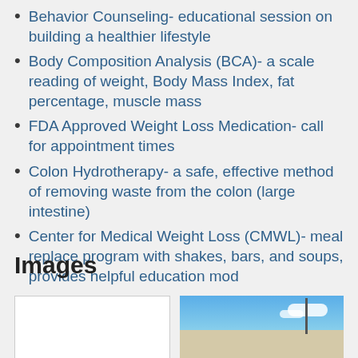Behavior Counseling- educational session on building a healthier lifestyle
Body Composition Analysis (BCA)- a scale reading of weight, Body Mass Index, fat percentage, muscle mass
FDA Approved Weight Loss Medication- call for appointment times
Colon Hydrotherapy- a safe, effective method of removing waste from the colon (large intestine)
Center for Medical Weight Loss (CMWL)- meal replace program with shakes, bars, and soups, provides helpful education mod
Images
[Figure (photo): White blank image placeholder]
[Figure (photo): Exterior photo of a building with blue sky, clouds, and a street pole]